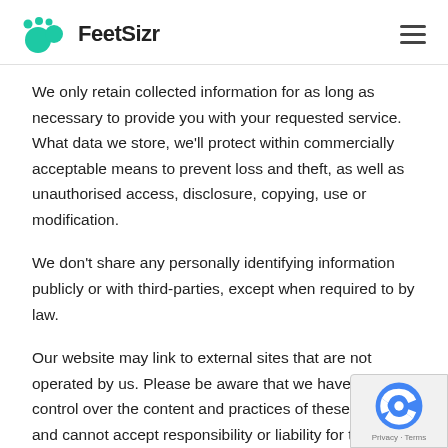FeetSizr
We only retain collected information for as long as necessary to provide you with your requested service. What data we store, we'll protect within commercially acceptable means to prevent loss and theft, as well as unauthorised access, disclosure, copying, use or modification.
We don't share any personally identifying information publicly or with third-parties, except when required to by law.
Our website may link to external sites that are not operated by us. Please be aware that we have no control over the content and practices of these sites, and cannot accept responsibility or liability for their respective